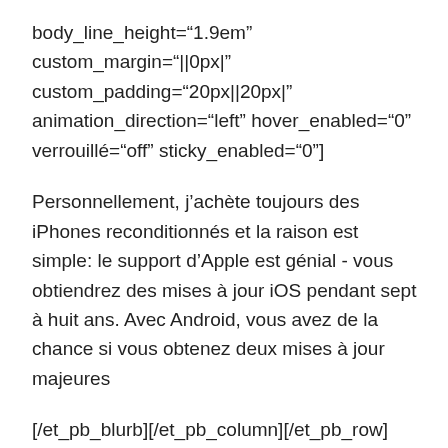body_line_height="1.9em" custom_margin="||0px|" custom_padding="20px||20px|" animation_direction="left" hover_enabled="0" verrouillé="off" sticky_enabled="0"]
Personnellement, j'achète toujours des iPhones reconditionnés et la raison est simple: le support d'Apple est génial - vous obtiendrez des mises à jour iOS pendant sept à huit ans. Avec Android, vous avez de la chance si vous obtenez deux mises à jour majeures
[/et_pb_blurb][/et_pb_column][/et_pb_row] [/et_pb_section][et_pb_section fb_built="1" admin_label="Pied de page" _builder_version="4.9.0" background_color="#ffffff"